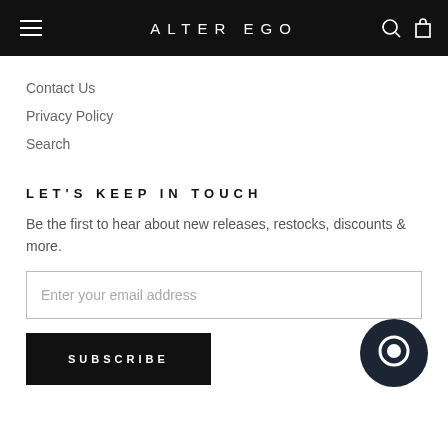ALTER EGO
Contact Us
Privacy Policy
Search
LET'S KEEP IN TOUCH
Be the first to hear about new releases, restocks, discounts & more.
Enter your email address
SUBSCRIBE